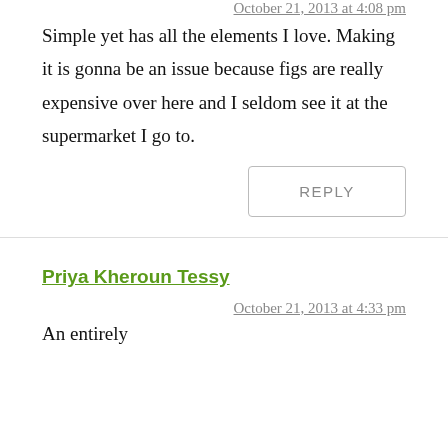October 21, 2013 at 4:08 pm
Simple yet has all the elements I love. Making it is gonna be an issue because figs are really expensive over here and I seldom see it at the supermarket I go to.
REPLY
Priya Kheroun Tessy
October 21, 2013 at 4:33 pm
An entirely